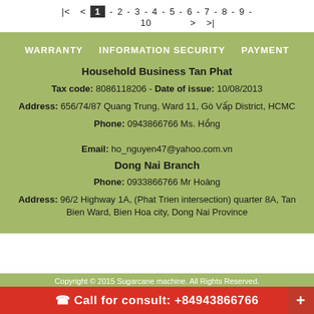|<  <  1 - 2 - 3 - 4 - 5 - 6 - 7 - 8 - 9 - 10  >  >|
WARRANTY    INFORMATION SECURITY    PAYMENT
Household Business Tan Phat
Tax code: 8086118206 - Date of issue: 10/08/2013
Address: 656/74/87 Quang Trung, Ward 11, Gò Vấp District, HCMC
Phone: 0943866766 Ms. Hồng
Email: ho_nguyen47@yahoo.com.vn
Dong Nai Branch
Phone: 0933866766 Mr Hoàng
Address: 96/2 Highway 1A, (Phat Trien intersection) quarter 8A, Tan Bien Ward, Bien Hoa city, Dong Nai Province
Copyright © 2015 Sugarcane machine. All Rights Reserved.
Call for consult: +84943866766